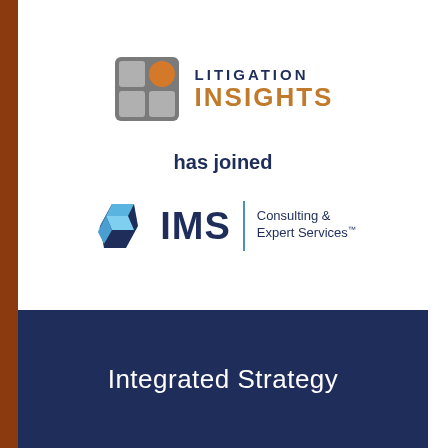[Figure (logo): Litigation Insights logo with a 2x2 grid icon (grey squares with orange circle top-right) and text 'LITIGATION INSIGHTS' in navy/orange]
has joined
[Figure (logo): IMS Consulting & Expert Services logo with blue geometric diamond shape and text 'IMS | Consulting & Expert Services']
Integrated Strategy